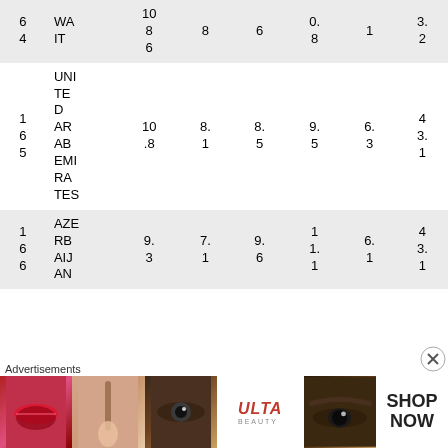| # | Country | Col3 | Col4 | Col5 | Col6 | Col7 | Col8 |
| --- | --- | --- | --- | --- | --- | --- | --- |
| 6
4 | WA
IT | 10
8
6 | 8 | 6 | 0.
8 | 1 | 3.
2 |
| 1
6
5 | UNITED
ARAB
EMIRATES | 10
.8 | 8.
1 | 8.
5 | 9.
5 | 6.
3 | 4
3.
1 |
| 1
6
6 | AZER
BAI
JAN | 9.
3 | 7.
1 | 9.
6 | 1
1.
1 | 6.
1 | 4
3.
1 |
[Figure (infographic): Advertisement banner for Ulta Beauty with makeup imagery: lips with lipstick, makeup brush, eye with mascara, Ulta Beauty logo, eyebrows/eyes close-up, and SHOP NOW call to action]